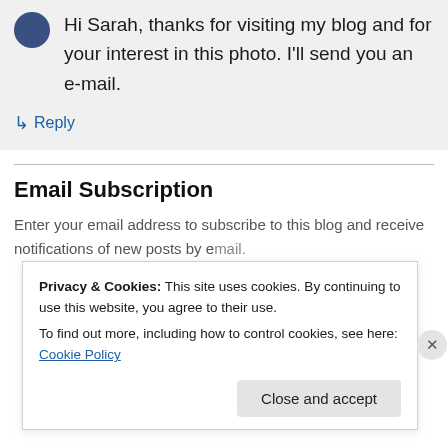Hi Sarah, thanks for visiting my blog and for your interest in this photo. I'll send you an e-mail.
↳ Reply
Email Subscription
Enter your email address to subscribe to this blog and receive notifications of new posts by email.
Privacy & Cookies: This site uses cookies. By continuing to use this website, you agree to their use. To find out more, including how to control cookies, see here: Cookie Policy
Close and accept